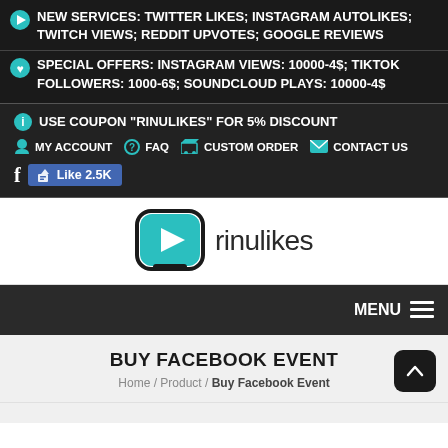NEW SERVICES: TWITTER LIKES; INSTAGRAM AUTOLIKES; TWITCH VIEWS; REDDIT UPVOTES; GOOGLE REVIEWS
SPECIAL OFFERS: INSTAGRAM VIEWS: 10000-4$; TIKTOK FOLLOWERS: 1000-6$; SOUNDCLOUD PLAYS: 10000-4$
USE COUPON "RINULIKES" FOR 5% DISCOUNT
MY ACCOUNT
FAQ
CUSTOM ORDER
CONTACT US
[Figure (logo): Rinulikes logo with teal play button icon and text 'rinulikes']
MENU
BUY FACEBOOK EVENT
Home / Product / Buy Facebook Event